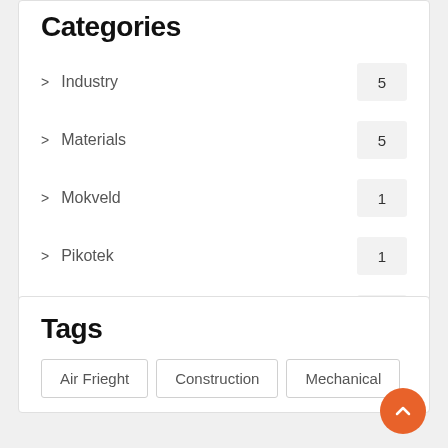Categories
Industry  5
Materials  5
Mokveld  1
Pikotek  1
Production  4
Tags
Air Frieght
Construction
Mechanical